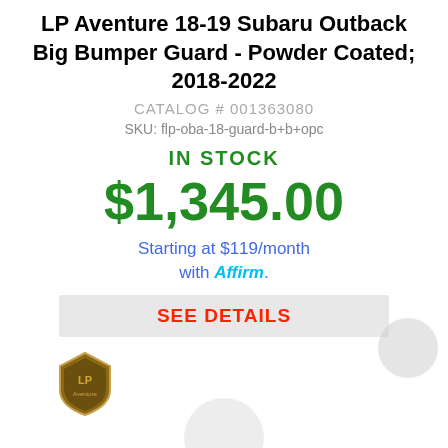LP Aventure 18-19 Subaru Outback Big Bumper Guard - Powder Coated; 2018-2022
CATALOG # 001363080
SKU: flp-oba-18-guard-b+b+opc
IN STOCK
$1,345.00
Starting at $119/month with Affirm.
SEE DETAILS
[Figure (logo): LP Aventure shield/badge logo in brown and gold tones]